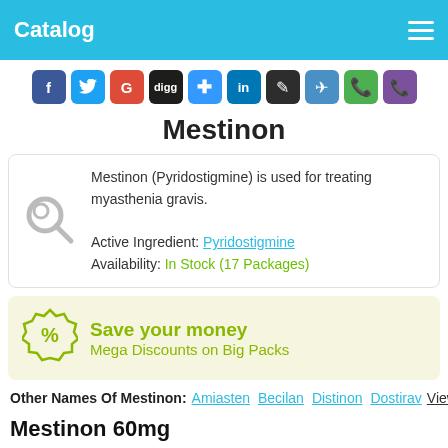Catalog
[Figure (other): Row of social media sharing icons: Facebook, Twitter, Google+, Digg, Delicious, LinkedIn, Edit/Pencil, Share/Plane, WhatsApp, Viber]
Mestinon
Mestinon (Pyridostigmine) is used for treating myasthenia gravis. Active Ingredient: Pyridostigmine Availability: In Stock (17 Packages)
Save your money
Mega Discounts on Big Packs
Other Names Of Mestinon: Amiasten Becilan Distinon Dostirav View all
Mestinon 60mg